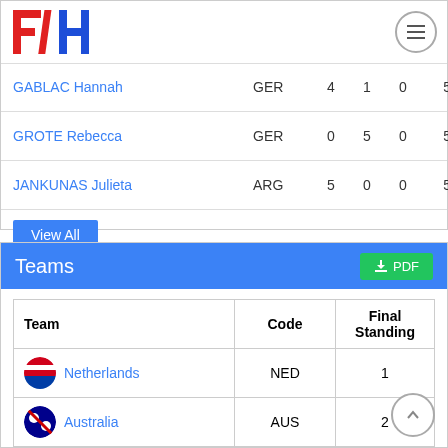[Figure (logo): FIH (International Hockey Federation) logo in red and blue]
| Name | Code |  |  |  |  |
| --- | --- | --- | --- | --- | --- |
| GABLAC Hannah | GER | 4 | 1 | 0 | 5 |
| GROTE Rebecca | GER | 0 | 5 | 0 | 5 |
| JANKUNAS Julieta | ARG | 5 | 0 | 0 | 5 |
View All
Teams
| Team | Code | Final Standing |
| --- | --- | --- |
| Netherlands | NED | 1 |
| Australia | AUS | 2 |
| Germany | GER | 3 |